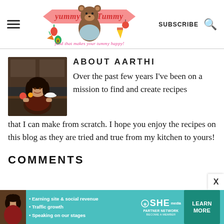Yummy Tummy — food that makes your tummy happy! [SUBSCRIBE] [Search]
[Figure (logo): Yummy Tummy blog logo with bear character and food illustrations, tagline: food that makes your tummy happy!]
[Figure (photo): Photo of Aarthi, woman standing behind kitchen counter with food]
ABOUT AARTHI
Over the past few years I've been on a mission to find and create recipes that I can make from scratch. I hope you enjoy the recipes on this blog as they are tried and true from my kitchen to yours!
COMMENTS
[Figure (infographic): SHE Partner Network advertisement banner with woman photo, bullet points: Earning site & social revenue, Traffic growth, Speaking on our stages. BECOME A MEMBER. LEARN MORE button.]